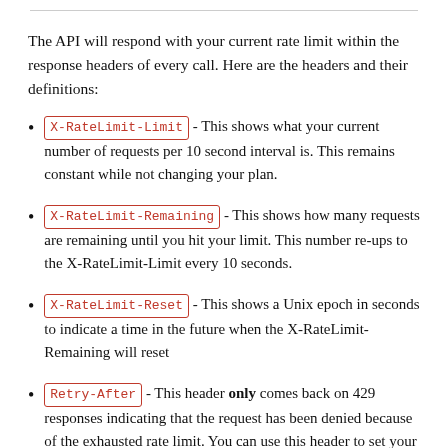The API will respond with your current rate limit within the response headers of every call. Here are the headers and their definitions:
X-RateLimit-Limit - This shows what your current number of requests per 10 second interval is. This remains constant while not changing your plan.
X-RateLimit-Remaining - This shows how many requests are remaining until you hit your limit. This number re-ups to the X-RateLimit-Limit every 10 seconds.
X-RateLimit-Reset - This shows a Unix epoch in seconds to indicate a time in the future when the X-RateLimit-Remaining will reset
Retry-After - This header only comes back on 429 responses indicating that the request has been denied because of the exhausted rate limit. You can use this header to set your wait time, in seconds, so that your next request